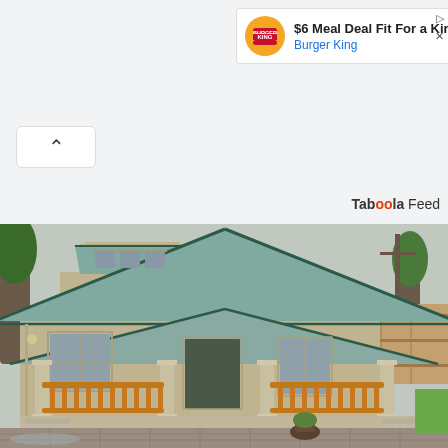[Figure (screenshot): Advertisement banner for Burger King '$6 Meal Deal Fit For a Ki...' with Burger King logo and sponsor name in blue]
[Figure (screenshot): Chevron/up-arrow button (collapse UI element)]
Taboola Feed
[Figure (photo): Photograph of a small craftsman-style house with a green metal roof, tan/beige siding, covered front porch with orange/wood-stained railings and white pillars, front steps, a potted plant near the entrance, and a paved driveway. Trees and a fence visible in the background.]